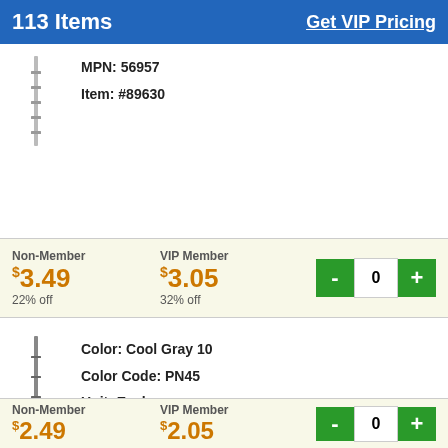113 Items   Get VIP Pricing
MPN: 56957
Item: #89630
Non-Member $3.49 22% off   VIP Member $3.05 32% off
Color: Cool Gray 10
Color Code: PN45
Unit: Each
MPN: 56949
Item: #89619
Non-Member $2.49   VIP Member $2.05